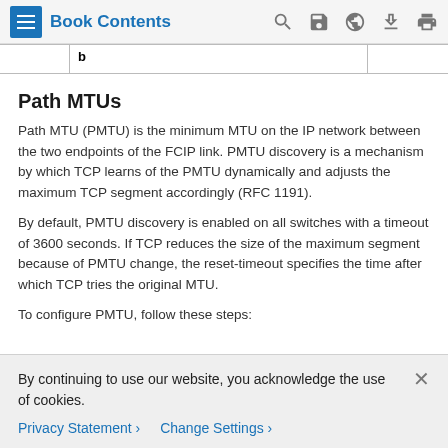Book Contents
| b |  |  |
Path MTUs
Path MTU (PMTU) is the minimum MTU on the IP network between the two endpoints of the FCIP link. PMTU discovery is a mechanism by which TCP learns of the PMTU dynamically and adjusts the maximum TCP segment accordingly (RFC 1191).
By default, PMTU discovery is enabled on all switches with a timeout of 3600 seconds. If TCP reduces the size of the maximum segment because of PMTU change, the reset-timeout specifies the time after which TCP tries the original MTU.
To configure PMTU, follow these steps:
By continuing to use our website, you acknowledge the use of cookies.
Privacy Statement >   Change Settings >